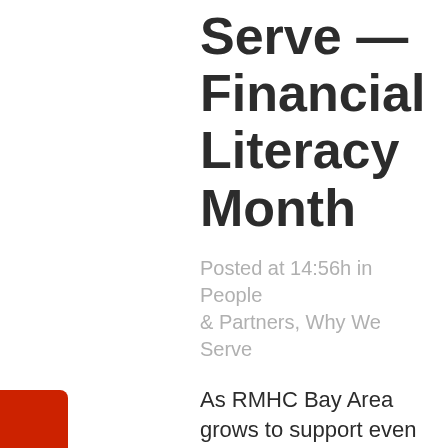Serve — Financial Literacy Month
Posted at 14:56h in People & Partners, Why We Serve
As RMHC Bay Area grows to support even more families with sick children through expanded housing, meal and support resources, Vice President